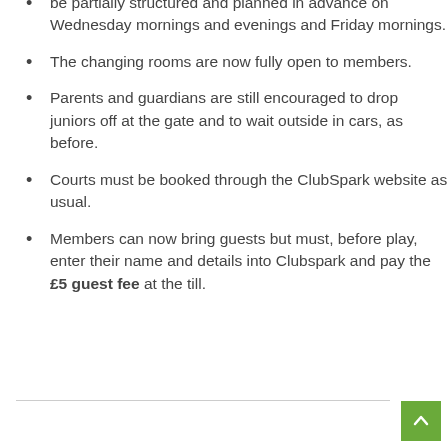be partially structured and planned in advance on Wednesday mornings and evenings and Friday mornings.
The changing rooms are now fully open to members.
Parents and guardians are still encouraged to drop juniors off at the gate and to wait outside in cars, as before.
Courts must be booked through the ClubSpark website as usual.
Members can now bring guests but must, before play, enter their name and details into Clubspark and pay the £5 guest fee at the till.